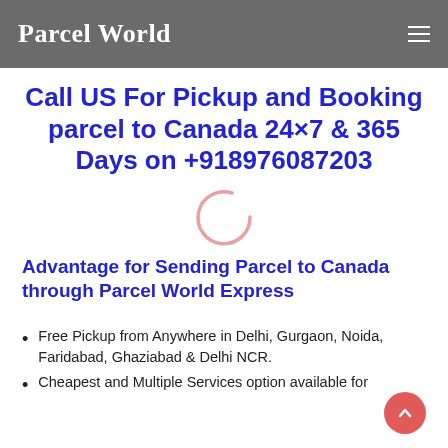Parcel World
Call US For Pickup and Booking parcel to Canada 24×7 & 365 Days on +918976087203
[Figure (other): Loading spinner / circular arc in light pink/salmon color]
Advantage for Sending Parcel to Canada through Parcel World Express
Free Pickup from Anywhere in Delhi, Gurgaon, Noida, Faridabad, Ghaziabad & Delhi NCR.
Cheapest and Multiple Services option available for